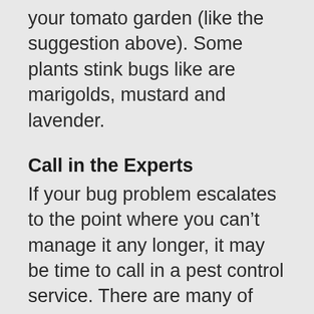your tomato garden (like the suggestion above). Some plants stink bugs like are marigolds, mustard and lavender.
Call in the Experts
If your bug problem escalates to the point where you can't manage it any longer, it may be time to call in a pest control service. There are many of eco-friendly options for your garden if you are worried about chemicals in your garden (especially if you are growing vegetables/herbs). Many times professionals will know how to clear your bug problem efficiently and for good. This is a great option if you have tried on